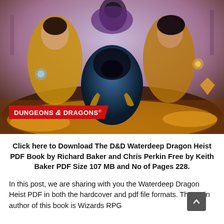[Figure (illustration): Fantasy book cover art for D&D Waterdeep Dragon Heist featuring multiple characters including a hooded dark figure in the center with skeletal hands, a man in golden robes on the left, a woman on the right, and a masked figure at the top. A red banner at the bottom left reads DUNGEONS & DRAGONS.]
Click here to Download The D&D Waterdeep Dragon Heist PDF Book by Richard Baker and Chris Perkin Free by Keith Baker PDF Size 107 MB and No of Pages 228.
In this post, we are sharing with you the Waterdeep Dragon Heist PDF in both the hardcover and pdf file formats. The main author of this book is Wizards RPG